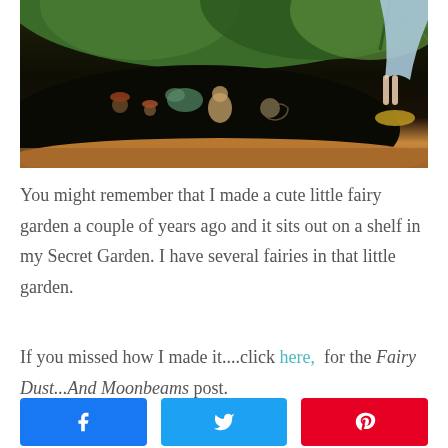[Figure (photo): Close-up photo of a miniature fairy garden in a wicker/coir basket, showing small figurines, mushrooms, succulents, dark soil, and green conifer plants. A fairy figurine in a blue dress is visible on the right side.]
You might remember that I made a cute little fairy garden a couple of years ago and it sits out on a shelf in my Secret Garden. I have several fairies in that little garden.
If you missed how I made it....click here, for the Fairy Dust...And Moonbeams post.
[Figure (infographic): Three social share buttons in a row: Facebook (blue), Twitter (cyan/blue), Pinterest (red), each with the corresponding social media icon.]